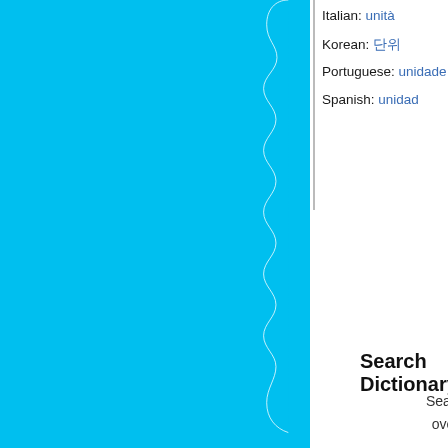Italian: unità
Korean: 단위
Portuguese: unidade
Spanish: unidad
Ja[panese: ...]
Po[lish: ...]
Ru[ssian: ...]
Sw[edish: ...]
Search Dictionary
Rando[m Word]
Search the meaning and definition of over one hundred thousand words!
Notice
/var/www
Noti[ce]
/var/www
Find words starting with:
A  D  G  J  M  P
B  E  H  K  N  [...]